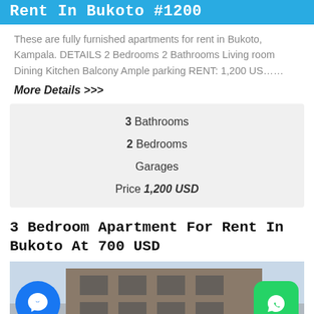Rent In Bukoto #1200
These are fully furnished apartments for rent in Bukoto, Kampala. DETAILS 2 Bedrooms 2 Bathrooms Living room Dining Kitchen Balcony Ample parking RENT: 1,200 US……
More Details >>>
| 3 Bathrooms |
| 2 Bedrooms |
| Garages |
| Price 1,200 USD |
3 Bedroom Apartment For Rent In Bukoto At 700 USD
[Figure (photo): Exterior photo of apartment building with messenger and WhatsApp buttons overlaid]